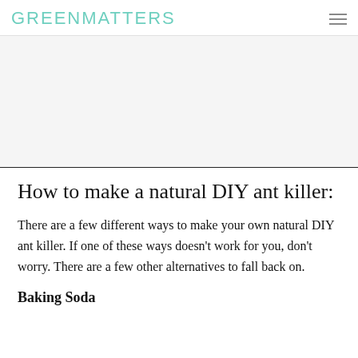GREENMATTERS
How to make a natural DIY ant killer:
There are a few different ways to make your own natural DIY ant killer. If one of these ways doesn't work for you, don't worry. There are a few other alternatives to fall back on.
Baking Soda